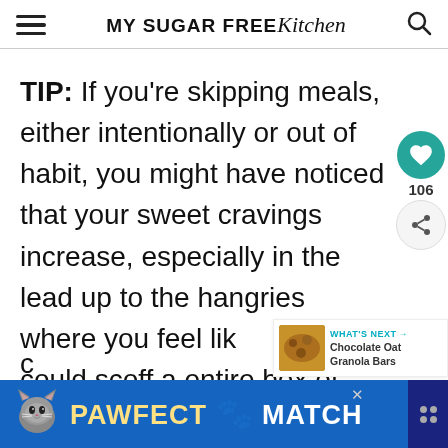MY SUGAR FREE Kitchen
TIP: If you're skipping meals, either intentionally or out of habit, you might have noticed that your sweet cravings increase, especially in the lead up to the hangries where you feel lik could scoff a entire box of c
[Figure (screenshot): Social share sidebar with heart button (teal, 106 count) and share button]
[Figure (screenshot): What's Next widget showing Chocolate Oat Granola Bars]
[Figure (screenshot): Pawfect Match advertisement banner at bottom of page]